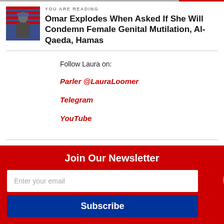YOU ARE READING
Omar Explodes When Asked If She Will Condemn Female Genital Mutilation, Al-Qaeda, Hamas
Follow Laura on:
Parler @LauraLoomer
Telegram
YouTube
You Might Like
Join Our Newsletter
Enter your email
Subscribe